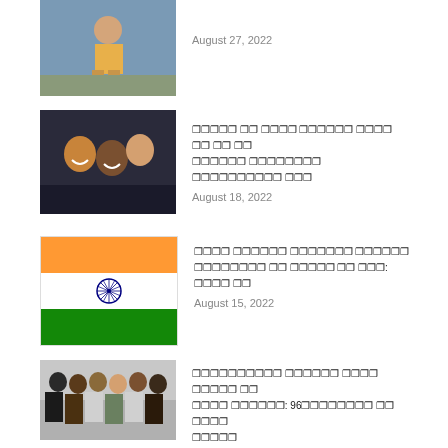[Figure (photo): Person crouching on ground outdoors]
August 27, 2022
[Figure (photo): Group of smiling people at a gathering]
[Hindi text] August 18, 2022
[Figure (illustration): Indian national flag (tricolor: orange, white, green) with Ashoka Chakra]
[Hindi text] August 15, 2022
[Figure (photo): Group of people standing together indoors]
[Hindi text] 96[Hindi text] August 15, 2022